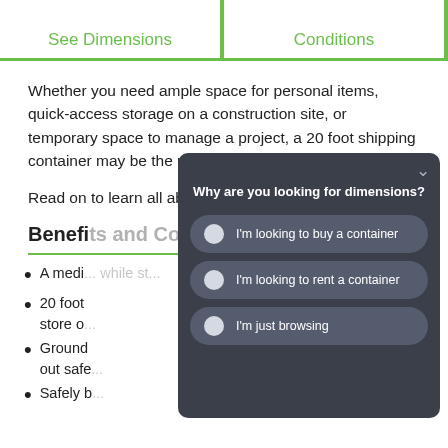See Dimensions | Conditions
Whether you need ample space for personal items, quick-access storage on a construction site, or temporary space to manage a project, a 20 foot shipping container may be the perfect choice.
Read on to learn all about 20 foot shipping containers.
Benefits and Common Uses of 20 ft Steel
A medi... while st...
20 foot... store o...
Ground... out safe...
Safely b...
[Figure (other): Modal popup overlay asking 'Why are you looking for dimensions?' with three radio button options: 'I'm looking to buy a container', 'I'm looking to rent a container', 'I'm just browsing']